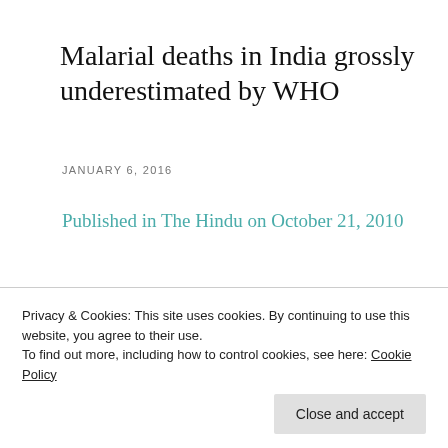Malarial deaths in India grossly underestimated by WHO
JANUARY 6, 2016
Published in The Hindu on October 21, 2010
How many people die of malaria every year in India? According to the estimates of World Health Organisation (WHO), 15,000 (10,000 adults
Privacy & Cookies: This site uses cookies. By continuing to use this website, you agree to their use.
To find out more, including how to control cookies, see here: Cookie Policy
high as 2,05,000 per year. The upper limit is